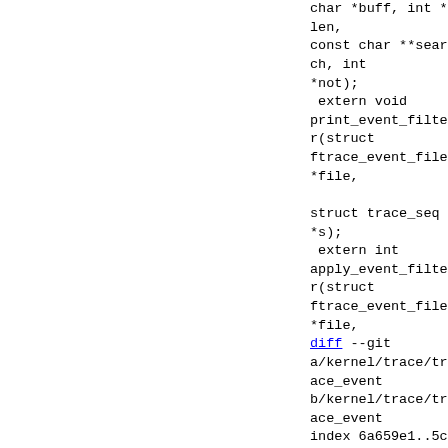char *buff, int *len,
const char **search, int
*not);
 extern void
print_event_filter(struct
ftrace_event_file *file,

struct trace_seq *s);
 extern int
apply_event_filter(struct
ftrace_event_file *file,
diff --git a/kernel/trace/trace_event b/kernel/trace/trace_event
index 6a659e1..5cefdd8 100644
---
a/kernel/trace/trace_event
+++
b/kernel/trace/trace_event
@@ -321,7 +321,8 @@
static int
regex_match_end(char
*str, struct regex *r,
int len)
   *  not returns 1 if
buff started with a '!'
   *      0 otherwise.
   */
-enum regex_type